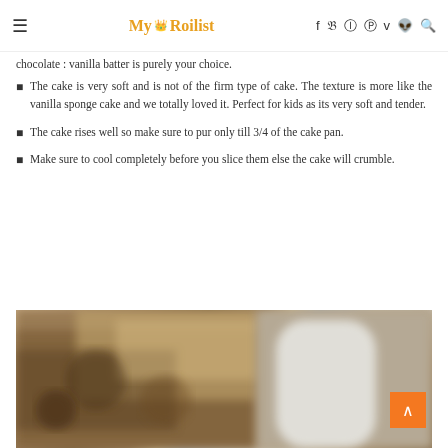≡  My Roilist  f  tw  ◎  ℗  V  ✿  🔍
chocolate : vanilla batter is purely your choice.
The cake is very soft and is not of the firm type of cake. The texture is more like the vanilla sponge cake and we totally loved it. Perfect for kids as its very soft and tender.
The cake rises well so make sure to pur only till 3/4 of the cake pan.
Make sure to cool completely before you slice them else the cake will crumble.
[Figure (photo): A close-up photo of a baked chocolate/nut cake with a white pitcher or jug visible on the right side, with a watermark overlay. An orange back-to-top arrow button is in the bottom-right.]